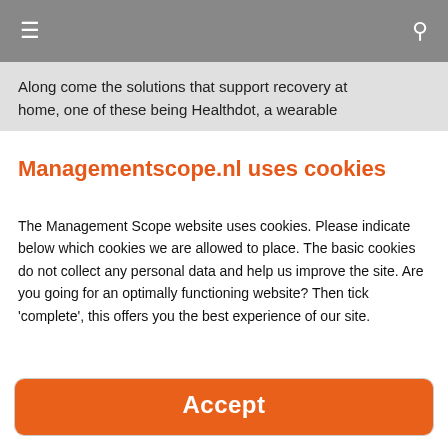≡  🔍
Along come the solutions that support recovery at home, one of these being Healthdot, a wearable
Managementscope.nl uses cookies
The Management Scope website uses cookies. Please indicate below which cookies we are allowed to place. The basic cookies do not collect any personal data and help us improve the site. Are you going for an optimally functioning website? Then tick 'complete', this offers you the best experience of our site.
basic  ✓ complete  recommended
details ▼
Accept